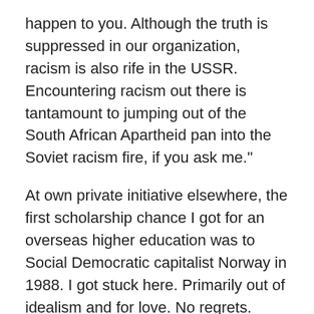happen to you. Although the truth is suppressed in our organization, racism is also rife in the USSR. Encountering racism out there is tantamount to jumping out of the South African Apartheid pan into the Soviet racism fire, if you ask me.”
At own private initiative elsewhere, the first scholarship chance I got for an overseas higher education was to Social Democratic capitalist Norway in 1988. I got stuck here. Primarily out of idealism and for love. No regrets. Norway is the richest country in the world. All things considered, life is as good as can be in Norway. Of course, never perfect, never fully satisfactory for everyone, but Norway does deliver for its people.
And the country is a leading Foreign Aid nation. Norwegian Finance Ministers have for years been